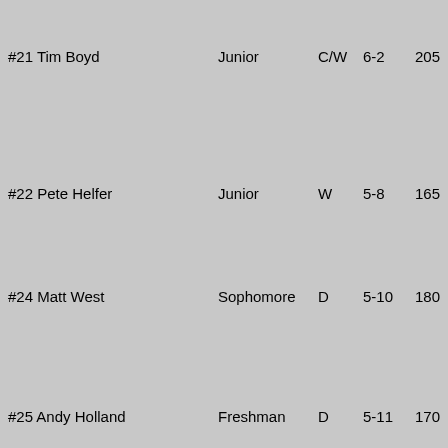| Name | Year | Pos | Ht | Wt | Hometown/School |
| --- | --- | --- | --- | --- | --- |
| #21 Tim Boyd | Junior | C/W | 6-2 | 205 | New Canaan, Connecticut/ New Canaan HS |
| #22 Pete Helfer | Junior | W | 5-8 | 165 | Huntington, New York/ Northwood School |
| #24 Matt West | Sophomore | D | 5-10 | 180 | Colorado Springs, Colorado/ Lake Forest Academy |
| #25 Andy Holland | Freshman | D | 5-11 | 170 | Ellington, Vermont/ Woodstock Union HS |
| #27 Matt Coleman | Sophomore | D | 6-0 | 195 | Canton, Massachusetts/ Lawrence Academy |
| #28 Judd Brackett | Senior | G | 5-9 | 160 | Harwich, Massachusetts/ Philips Andover |
| #30 Brett Roth | Freshman | G | 6-0 | 180 | Charlotte, North Carolina/ Creighton |